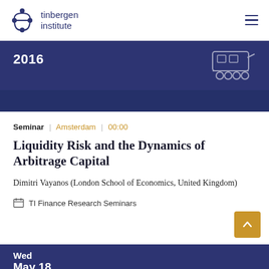tinbergen institute
2016
Seminar | Amsterdam | 00:00
Liquidity Risk and the Dynamics of Arbitrage Capital
Dimitri Vayanos (London School of Economics, United Kingdom)
TI Finance Research Seminars
Wed
May 18